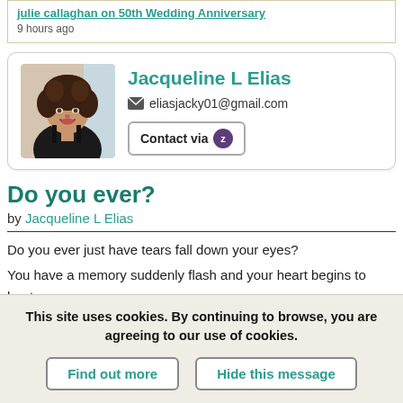julie callaghan on 50th Wedding Anniversary
9 hours ago
[Figure (photo): Profile photo of Jacqueline L Elias, a woman with curly hair wearing a black top, smiling]
Jacqueline L Elias
eliasjacky01@gmail.com
Contact via
Do you ever?
by Jacqueline L Elias
Do you ever just have tears fall down your eyes?
You have a memory suddenly flash and your heart begins to beat fast and before you know it you're back in the past
This site uses cookies. By continuing to browse, you are agreeing to our use of cookies.
Find out more   Hide this message